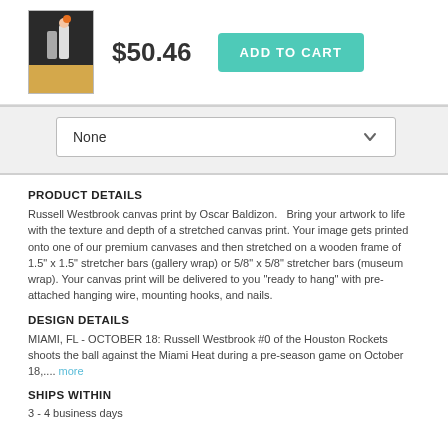$50.46  ADD TO CART
[Figure (photo): Thumbnail of Russell Westbrook basketball canvas print]
None
PRODUCT DETAILS
Russell Westbrook canvas print by Oscar Baldizon.   Bring your artwork to life with the texture and depth of a stretched canvas print. Your image gets printed onto one of our premium canvases and then stretched on a wooden frame of 1.5" x 1.5" stretcher bars (gallery wrap) or 5/8" x 5/8" stretcher bars (museum wrap). Your canvas print will be delivered to you "ready to hang" with pre-attached hanging wire, mounting hooks, and nails.
DESIGN DETAILS
MIAMI, FL - OCTOBER 18: Russell Westbrook #0 of the Houston Rockets shoots the ball against the Miami Heat during a pre-season game on October 18,.... more
SHIPS WITHIN
3 - 4 business days